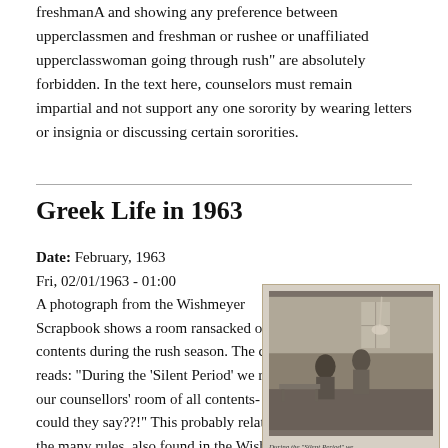freshmanA and showing any preference between upperclassmen and freshman or rushee or unaffiliated upperclasswoman going through rush" are absolutely forbidden. In the text here, counselors must remain impartial and not support any one sorority by wearing letters or insignia or discussing certain sororities.
Greek Life in 1963
Date:  February, 1963
Fri, 02/01/1963 - 01:00
A photograph from the Wishmeyer Scrapbook shows a room ransacked of its contents during the rush season. The caption reads: "During the 'Silent Period' we raided our counsellors' room of all contents- what could they say??!" This probably relates to the many rules, also found in the Wishmeyer Scrapbook, listed as Fall Panhellenic Rules, that
[Figure (photo): A vintage black-and-white photograph showing a room with figures, from the Wishmeyer Scrapbook, with a handwritten caption at the bottom reading 'During the Silent Period we...']